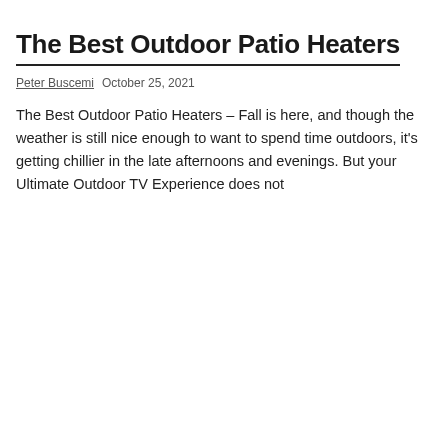The Best Outdoor Patio Heaters
Peter Buscemi  October 25, 2021
The Best Outdoor Patio Heaters – Fall is here, and though the weather is still nice enough to want to spend time outdoors, it's getting chillier in the late afternoons and evenings. But your Ultimate Outdoor TV Experience does not